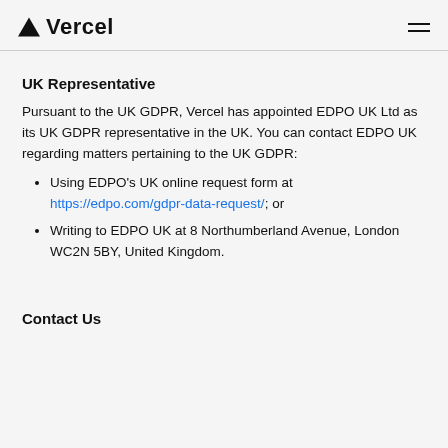Vercel
UK Representative
Pursuant to the UK GDPR, Vercel has appointed EDPO UK Ltd as its UK GDPR representative in the UK. You can contact EDPO UK regarding matters pertaining to the UK GDPR:
Using EDPO's UK online request form at https://edpo.com/gdpr-data-request/; or
Writing to EDPO UK at 8 Northumberland Avenue, London WC2N 5BY, United Kingdom.
Contact Us